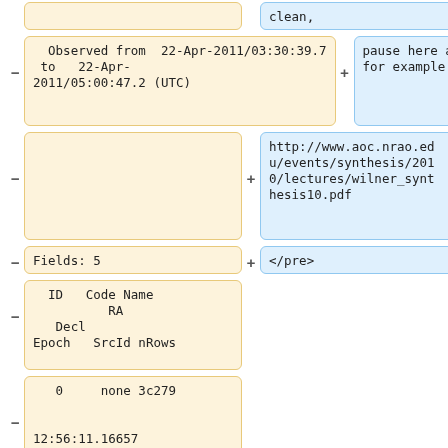clean,
Observed from  22-Apr-2011/03:30:39.7 to   22-Apr-2011/05:00:47.2 (UTC)
pause here and review for example
(empty left cell)
http://www.aoc.nrao.edu/events/synthesis/2010/lectures/wilner_synthesis10.pdf
Fields: 5
</pre>
ID   Code Name
          RA
   Decl
Epoch   SrcId nRows
0     none 3c279

12:56:11.16657
-05.47.21.5247 J2000